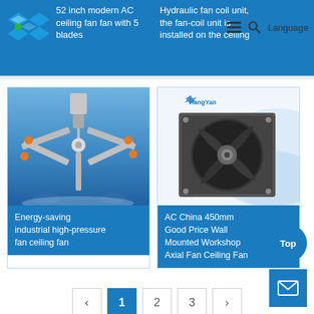[Figure (photo): Partial card top-left: 52 inch modern AC ceiling fan with 5 blades, blue background, logo visible]
52 inch modern AC ceiling fan fan with 5 blades
[Figure (photo): Partial card top-right: Hydraulic fan coil unit installed on the ceiling, blue background]
Hydraulic fan coil unit, the fan-coil unit is installed on the ceiling
[Figure (photo): Energy-saving industrial high-pressure fan ceiling fan product image on blue background]
Energy-saving industrial high-pressure fan ceiling fan
[Figure (photo): AC China 450mm Good Price Wall Mounted Workshop Axial Fan Ceiling Fan product image with HangYan logo]
AC China 450mm Good Price Wall Mounted Workshop Axial Fan Ceiling Fan